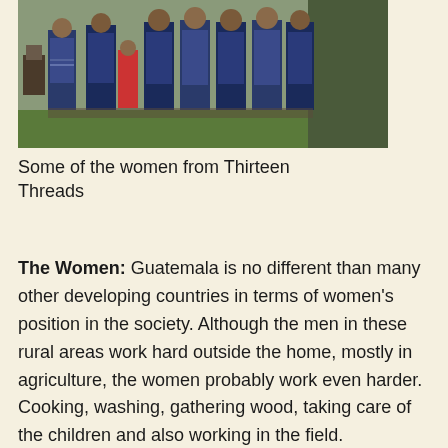[Figure (photo): Group of women wearing traditional Guatemalan woven skirts and clothing, standing outdoors on green grass in front of a building.]
Some of the women from Thirteen Threads
The Women: Guatemala is no different than many other developing countries in terms of women's position in the society. Although the men in these rural areas work hard outside the home, mostly in agriculture, the women probably work even harder. Cooking, washing, gathering wood, taking care of the children and also working in the field. Guatemalan society is still very paternalistic and the “machismo” factor is always present. There are however, some